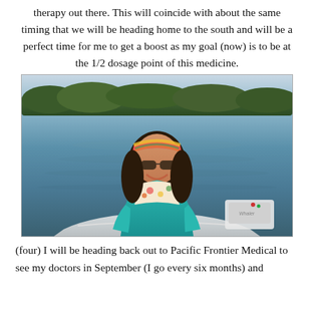therapy out there. This will coincide with about the same timing that we will be heading home to the south and will be a perfect time for me to get a boost as my goal (now) is to be at the 1/2 dosage point of this medicine.
[Figure (photo): A woman with sunglasses and a colorful headband wearing a teal jacket and floral scarf, smiling while seated on a boat on a calm lake with a forested shoreline in the background.]
(four) I will be heading back out to Pacific Frontier Medical to see my doctors in September (I go every six months) and